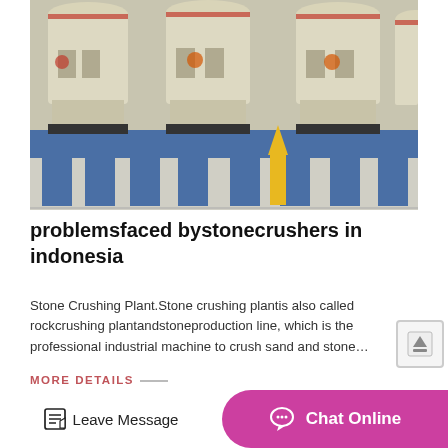[Figure (photo): Multiple large cream/beige colored stone crusher machines on blue steel frames in an industrial warehouse or factory yard. A yellow caution sign is visible between the machines.]
problemsfaced bystonecrushers in indonesia
Stone Crushing Plant.Stone crushing plantis also called rockcrushing plantandstoneproduction line, which is the professional industrial machine to crush sand and stone…
MORE DETAILS